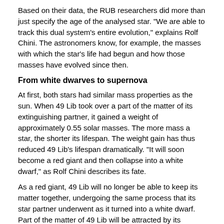Based on their data, the RUB researchers did more than just specify the age of the analysed star. “We are able to track this dual system’s entire evolution,” explains Rolf Chini. The astronomers know, for example, the masses with which the star’s life had begun and how those masses have evolved since then.
From white dwarves to supernova
At first, both stars had similar mass properties as the sun. When 49 Lib took over a part of the matter of its extinguishing partner, it gained a weight of approximately 0.55 solar masses. The more mass a star, the shorter its lifespan. The weight gain has thus reduced 49 Lib’s lifespan dramatically. “It will soon become a red giant and then collapse into a white dwarf,” as Rolf Chini describes its fate.
As a red giant, 49 Lib will no longer be able to keep its matter together, undergoing the same process that its star partner underwent as it turned into a white dwarf. Part of the matter of 49 Lib will be attracted by its extinguishing star partner. “If that partner cannot rid itself of the matter in small eruptions, it will fully explode as a supernova,” says Chini.
Story Source:
Materials provided by Ruhr-Universitaet-Bochum. Note: Content may be edited for style and length.